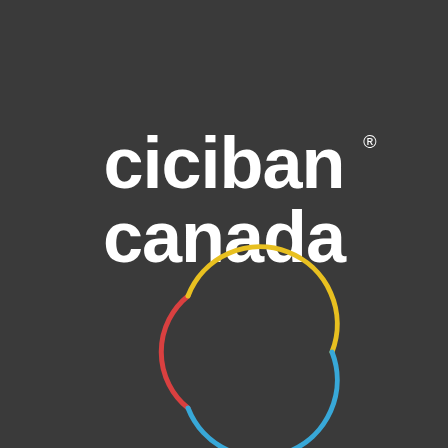[Figure (logo): Ciciban Canada logo on dark charcoal background. White bold rounded text reading 'ciciban' on first line and 'canada' on second line, with a registered trademark symbol. Below the text is a circular arc logo made of three colored arcs: red on the left, yellow on the top-right, and blue on the bottom-right, forming an open circle shape.]